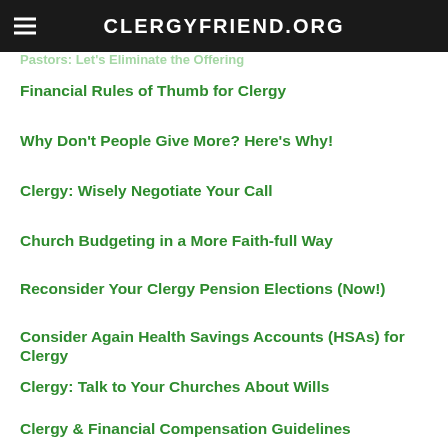CLERGYFRIEND.ORG
Pastors: Let's Eliminate the Offering
Financial Rules of Thumb for Clergy
Why Don't People Give More? Here's Why!
Clergy: Wisely Negotiate Your Call
Church Budgeting in a More Faith-full Way
Reconsider Your Clergy Pension Elections (Now!)
Consider Again Health Savings Accounts (HSAs) for Clergy
Clergy: Talk to Your Churches About Wills
Clergy & Financial Compensation Guidelines